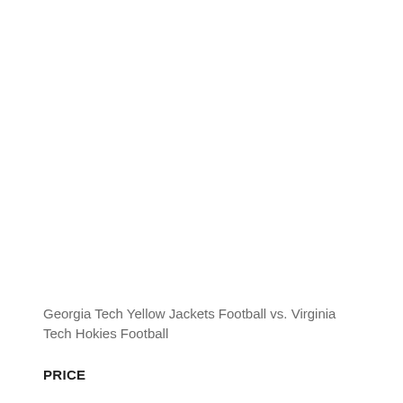Georgia Tech Yellow Jackets Football vs. Virginia Tech Hokies Football
PRICE